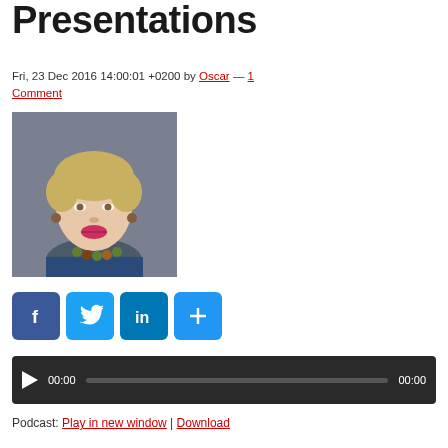Presentations
Fri, 23 Dec 2016 14:00:01 +0200 by Oscar — 1 Comment
[Figure (photo): Portrait photo of a woman with short blonde hair, smiling, wearing a blue top and colorful necklace]
[Figure (infographic): Social share buttons: Facebook, Twitter, LinkedIn, More]
[Figure (other): Audio player with play button, time 00:00, progress bar, total time 00:00]
Podcast: Play in new window | Download